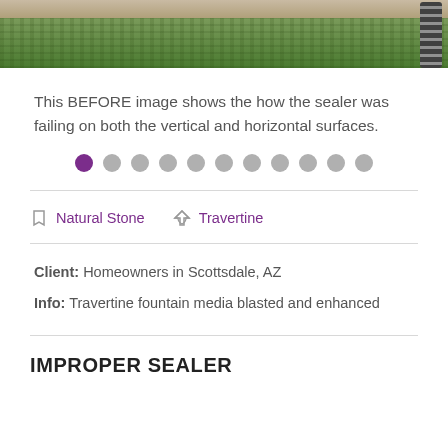[Figure (photo): Top portion of a photo showing stone/travertine surface with grass below and a metal coil object on the right side]
This BEFORE image shows the how the sealer was failing on both the vertical and horizontal surfaces.
[Figure (other): Pagination dots: 11 dots total, first dot is purple/active, rest are gray]
Natural Stone   Travertine
Client: Homeowners in Scottsdale, AZ
Info: Travertine fountain media blasted and enhanced
IMPROPER SEALER